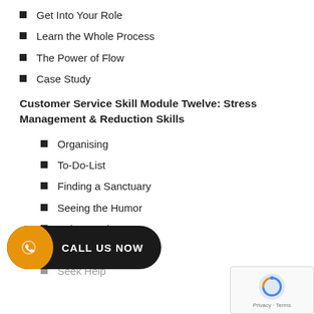Get Into Your Role
Learn the Whole Process
The Power of Flow
Case Study
Customer Service Skill Module Twelve: Stress Management & Reduction Skills
Organising
To-Do-List
Finding a Sanctuary
Seeing the Humor
Using Music
Deep Breathing
Seek Help
Customer Service Skill Module Thirteen: Mastering the Art of Conversation
Giving Your Customer Your Undivided Attention